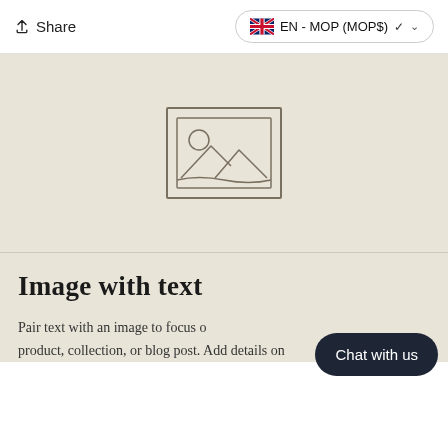Share | EN - MOP (MOP$)
[Figure (illustration): Image placeholder icon — a rectangle outline with a smaller inner rectangle, a circle (sun), and two mountain/triangle shapes inside, on a beige background]
Image with text
Pair text with an image to focus on your chosen product, collection, or blog post. Add details on
Chat with us